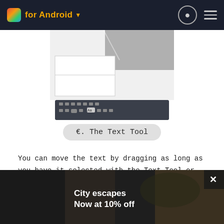for Android
[Figure (screenshot): Screenshot of a drawing/graphics app showing a canvas with gray rectangles and a toolbar at the bottom with various tool icons]
🔤. The Text Tool
You can move the text by dragging as long as you have it selected with the Text Tool or the Move Tool.
When... tap t... ext. Layo... dialo...